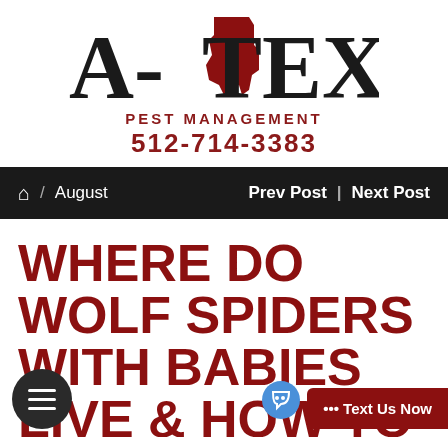[Figure (logo): A-TEX Pest Management logo with Texas state shape in red incorporated into the lettering, black serif font for A-TEX, red for PEST MANAGEMENT and phone number 512-714-3383]
🏠 / August    Prev Post | Next Post
WHERE DO WOLF SPIDERS WITH BABIES LIVE & HOW TO GET RID OF THESE